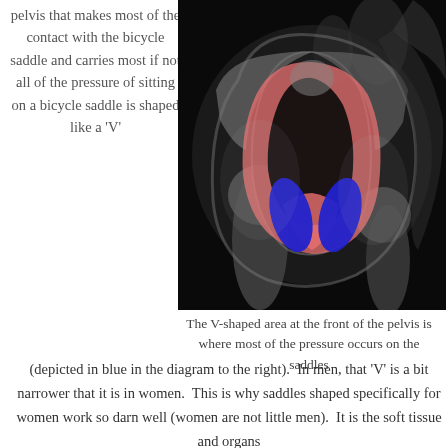pelvis that makes most of the contact with the bicycle saddle and carries most if not all of the pressure of sitting on a bicycle saddle is shaped like a 'V'
[Figure (illustration): Medical illustration of the pelvis showing bones in grayscale X-ray style with highlighted areas: a red/pink highlighted pelvic bone structure and two blue oval shapes at the front representing the V-shaped contact area on a bicycle saddle.]
The V-shaped area at the front of the pelvis is where most of the pressure occurs on the saddles
(depicted in blue in the diagram to the right).  In men, that 'V' is a bit narrower that it is in women.  This is why saddles shaped specifically for women work so darn well (women are not little men).  It is the soft tissue and organs